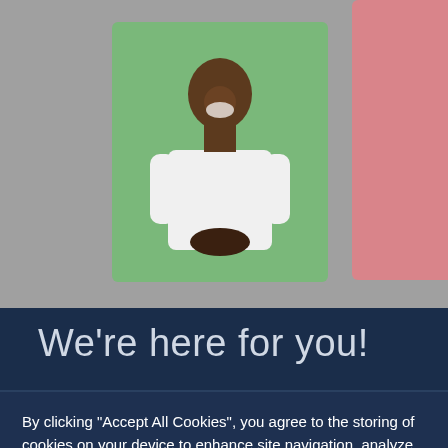[Figure (photo): Two photos: a smiling man on a green background (left) and a woman in a yellow/orange sweater on a pink background (right), displayed on a gray page background.]
We're here for you!
By clicking “Accept All Cookies”, you agree to the storing of cookies on your device to enhance site navigation, analyze site usage, and assist in our marketing efforts.
Cookies Settings
Accept All Cookies